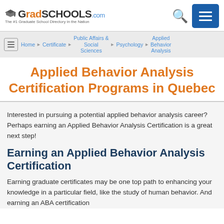[Figure (logo): GradSchools.com logo with graduation cap icon and tagline 'The #1 Graduate School Directory in the Nation']
[Figure (other): Search icon (magnifying glass) and blue menu button with three white horizontal lines]
Home > Certificate > Public Affairs & Social Sciences > Psychology > Applied Behavior Analysis
Applied Behavior Analysis Certification Programs in Quebec
Interested in pursuing a potential applied behavior analysis career? Perhaps earning an Applied Behavior Analysis Certification is a great next step!
Earning an Applied Behavior Analysis Certification
Earning graduate certificates may be one top path to enhancing your knowledge in a particular field, like the study of human behavior. And earning an ABA certification